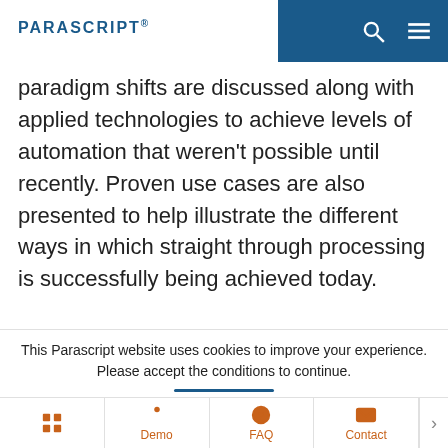PARASCRIPT®
paradigm shifts are discussed along with applied technologies to achieve levels of automation that weren't possible until recently. Proven use cases are also presented to help illustrate the different ways in which straight through processing is successfully being achieved today.
Download eBook
First Name *
This Parascript website uses cookies to improve your experience. Please accept the conditions to continue.
Demo | FAQ | Contact